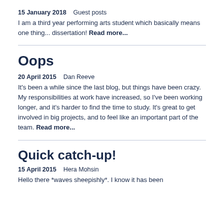15 January 2018   Guest posts
I am a third year performing arts student which basically means one thing... dissertation! Read more...
Oops
20 April 2015   Dan Reeve
It's been a while since the last blog, but things have been crazy. My responsibilities at work have increased, so I've been working longer, and it's harder to find the time to study. It's great to get involved in big projects, and to feel like an important part of the team. Read more...
Quick catch-up!
15 April 2015   Hera Mohsin
Hello there *waves sheepishly*. I know it has been